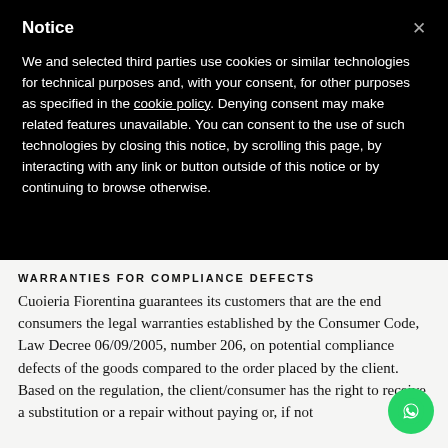Notice
We and selected third parties use cookies or similar technologies for technical purposes and, with your consent, for other purposes as specified in the cookie policy. Denying consent may make related features unavailable. You can consent to the use of such technologies by closing this notice, by scrolling this page, by interacting with any link or button outside of this notice or by continuing to browse otherwise.
WARRANTIES FOR COMPLIANCE DEFECTS
Cuoieria Fiorentina guarantees its customers that are the end consumers the legal warranties established by the Consumer Code, Law Decree 06/09/2005, number 206, on potential compliance defects of the goods compared to the order placed by the client. Based on the regulation, the client/consumer has the right to receive a substitution or a repair without paying or, if not